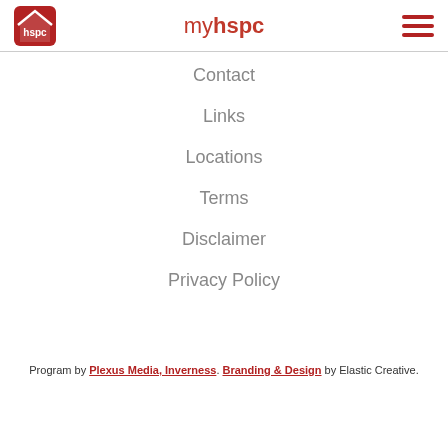myhspc
Contact
Links
Locations
Terms
Disclaimer
Privacy Policy
Program by Plexus Media, Inverness. Branding & Design by Elastic Creative.